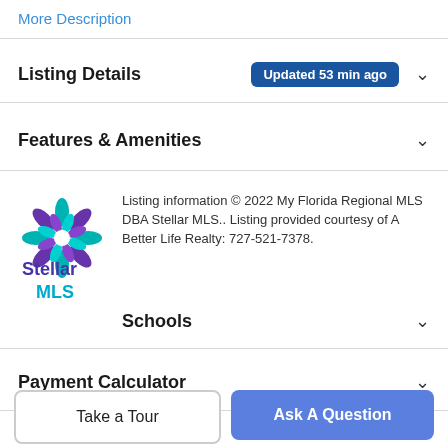More Description
Listing Details  Updated 53 min ago
Features & Amenities
Listing information © 2022 My Florida Regional MLS DBA Stellar MLS.. Listing provided courtesy of A Better Life Realty: 727-521-7378.
Schools
Payment Calculator
Contact Agent
Take a Tour
Ask A Question